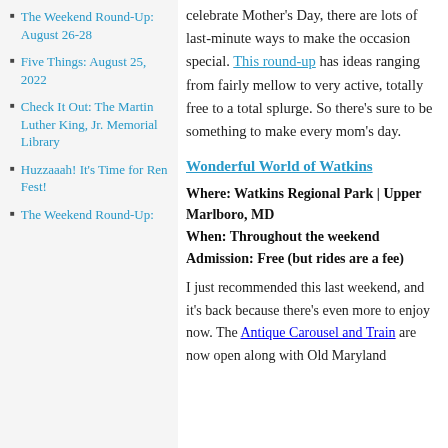The Weekend Round-Up: August 26-28
Five Things: August 25, 2022
Check It Out: The Martin Luther King, Jr. Memorial Library
Huzzaaah! It's Time for Ren Fest!
The Weekend Round-Up:
celebrate Mother's Day, there are lots of last-minute ways to make the occasion special. This round-up has ideas ranging from fairly mellow to very active, totally free to a total splurge. So there's sure to be something to make every mom's day.
Wonderful World of Watkins
Where: Watkins Regional Park | Upper Marlboro, MD
When: Throughout the weekend
Admission: Free (but rides are a fee)
I just recommended this last weekend, and it's back because there's even more to enjoy now. The Antique Carousel and Train are now open along with Old Maryland